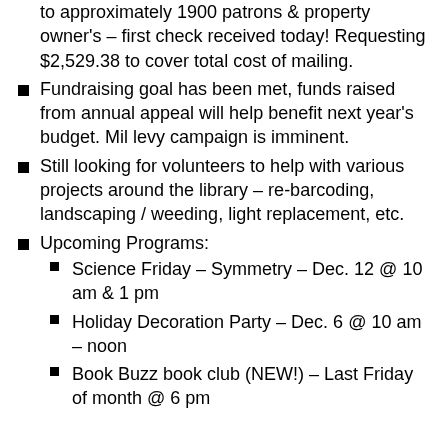Annual appeal is completed, mailed out recently to approximately 1900 patrons & property owner's – first check received today! Requesting $2,529.38 to cover total cost of mailing.
Fundraising goal has been met, funds raised from annual appeal will help benefit next year's budget. Mil levy campaign is imminent.
Still looking for volunteers to help with various projects around the library – re-barcoding, landscaping / weeding, light replacement, etc.
Upcoming Programs:
Science Friday – Symmetry – Dec. 12 @ 10 am & 1 pm
Holiday Decoration Party – Dec. 6 @ 10 am – noon
Book Buzz book club (NEW!) – Last Friday of month @ 6 pm